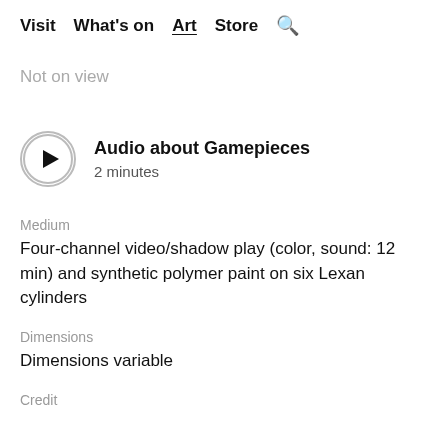Visit  What's on  Art  Store  🔍
Not on view
[Figure (other): Play button circle icon for audio player]
Audio about Gamepieces
2 minutes
Medium
Four-channel video/shadow play (color, sound: 12 min) and synthetic polymer paint on six Lexan cylinders
Dimensions
Dimensions variable
Credit